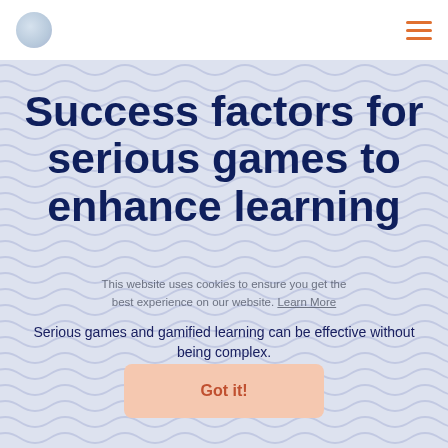[Figure (logo): Circular logo placeholder in top left navigation bar]
Navigation bar with logo and hamburger menu icon
Success factors for serious games to enhance learning
Serious games and gamified learning can be effective without being complex.
This website uses cookies to ensure you get the best experience on our website. Learn More
Got it!